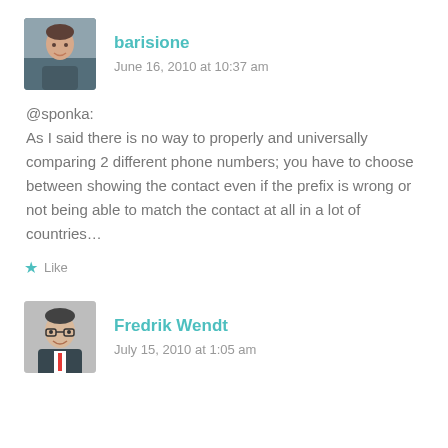[Figure (photo): Avatar photo of user barisione — a man outdoors]
barisione
June 16, 2010 at 10:37 am
@sponka:
As I said there is no way to properly and universally comparing 2 different phone numbers; you have to choose between showing the contact even if the prefix is wrong or not being able to match the contact at all in a lot of countries…
Like
[Figure (photo): Avatar photo of user Fredrik Wendt — a man with glasses in a suit]
Fredrik Wendt
July 15, 2010 at 1:05 am